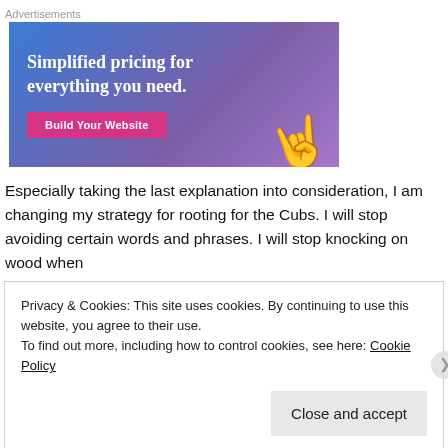Advertisements
[Figure (illustration): Advertisement banner with blue-purple gradient background showing text 'Simplified pricing for everything you need.' with a pink 'Build Your Website' button and a hand holding a website icon.]
Especially taking the last explanation into consideration, I am changing my strategy for rooting for the Cubs. I will stop avoiding certain words and phrases. I will stop knocking on wood when
Privacy & Cookies: This site uses cookies. By continuing to use this website, you agree to their use.
To find out more, including how to control cookies, see here: Cookie Policy
Close and accept